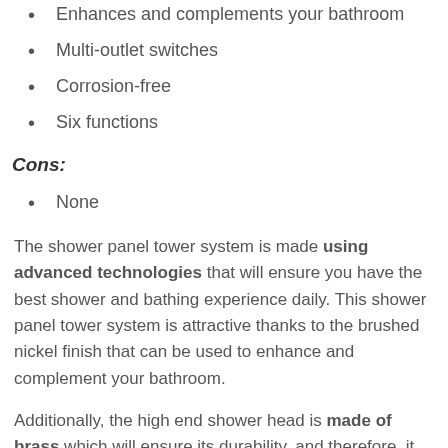Enhances and complements your bathroom
Multi-outlet switches
Corrosion-free
Six functions
Cons:
None
The shower panel tower system is made using advanced technologies that will ensure you have the best shower and bathing experience daily. This shower panel tower system is attractive thanks to the brushed nickel finish that can be used to enhance and complement your bathroom.
Additionally, the high end shower head is made of brass which will ensure its durability, and therefore, it will serve